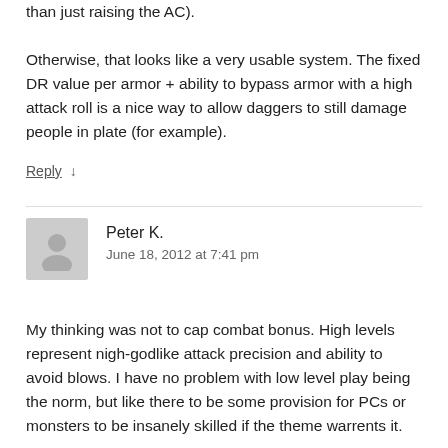than just raising the AC).
Otherwise, that looks like a very usable system. The fixed DR value per armor + ability to bypass armor with a high attack roll is a nice way to allow daggers to still damage people in plate (for example).
Reply ↓
Peter K.
June 18, 2012 at 7:41 pm
My thinking was not to cap combat bonus. High levels represent nigh-godlike attack precision and ability to avoid blows. I have no problem with low level play being the norm, but like there to be some provision for PCs or monsters to be insanely skilled if the theme warrents it.